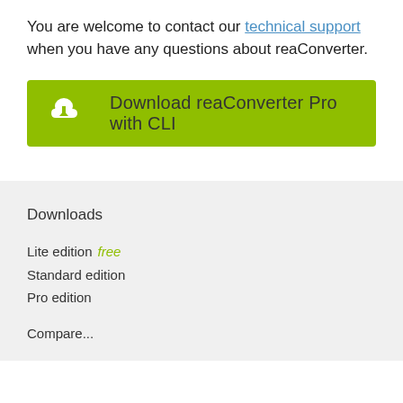You are welcome to contact our technical support when you have any questions about reaConverter.
[Figure (other): Green download button with cloud/download icon and text 'Download reaConverter Pro with CLI']
Downloads
Lite edition  free
Standard edition
Pro edition
Compare...